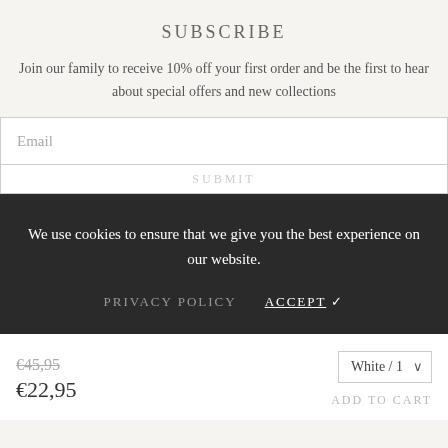SUBSCRIBE
Join our family to receive 10% off your first order and be the first to hear about special offers and new collections
We use cookies to ensure that we give you the best experience on our website.
PRIVACY POLICY   ACCEPT ✓
€45,95
€22,95
White / 1
ADD TO CART